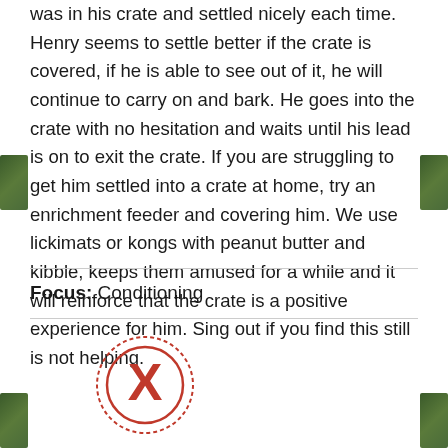was in his crate and settled nicely each time. Henry seems to settle better if the crate is covered, if he is able to see out of it, he will continue to carry on and bark. He goes into the crate with no hesitation and waits until his lead is on to exit the crate. If you are struggling to get him settled into a crate at home, try an enrichment feeder and covering him. We use lickimats or kongs with peanut butter and kibble, keeps them amused for a while and it will reinforce that the crate is a positive experience for him. Sing out if you find this still is not helping.
Focus: Conditioning
[Figure (other): A red circle with an X symbol inside, indicating a negative or incorrect action.]